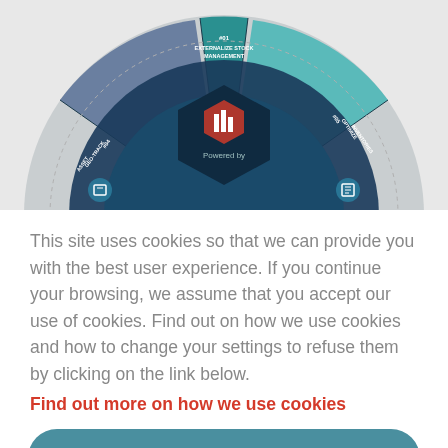[Figure (infographic): Partial circular diagram with teal/dark blue segments showing supply chain or inventory management modules. Visible segments include '#01 EXTERNALIZE STOCK MANAGEMENT', '#04 GEO-TRACK ASSET', '#05 OPTIMIZE INVENTORIES'. Center shows a hexagonal logo area with red icon and 'Powered by' text. Background is light gray.]
This site uses cookies so that we can provide you with the best user experience. If you continue your browsing, we assume that you accept our use of cookies. Find out on how we use cookies and how to change your settings to refuse them by clicking on the link below.
Find out more on how we use cookies
Accept
Deny all